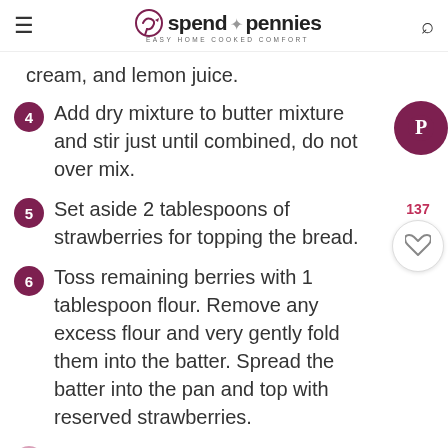spend with pennies — EASY HOME COOKED COMFORT
cream, and lemon juice.
4 Add dry mixture to butter mixture and stir just until combined, do not over mix.
5 Set aside 2 tablespoons of strawberries for topping the bread.
6 Toss remaining berries with 1 tablespoon flour. Remove any excess flour and very gently fold them into the batter. Spread the batter into the pan and top with reserved strawberries.
7 Bake 60-70 minutes or until a toothpick comes out clean. Remove from pan and